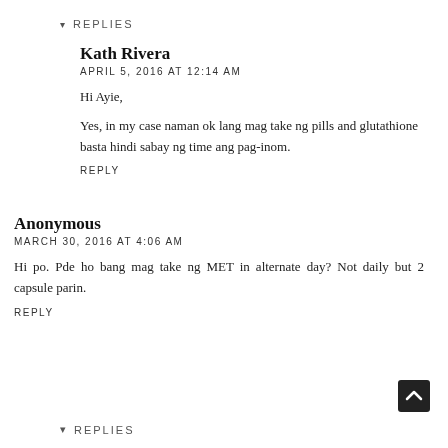▾ REPLIES
Kath Rivera
APRIL 5, 2016 AT 12:14 AM
Hi Ayie,
Yes, in my case naman ok lang mag take ng pills and glutathione basta hindi sabay ng time ang pag-inom.
REPLY
Anonymous
MARCH 30, 2016 AT 4:06 AM
Hi po. Pde ho bang mag take ng MET in alternate day? Not daily but 2 capsule parin.
REPLY
▾ REPLIES